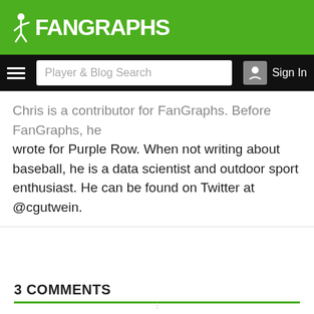FanGraphs
Chris is a contributor for FanGraphs. Before FanGraphs, he wrote for Purple Row. When not writing about baseball, he is a data scientist and outdoor sport enthusiast. He can be found on Twitter at @cgutwein.
3 COMMENTS
Oldest
[comment user row partially visible]